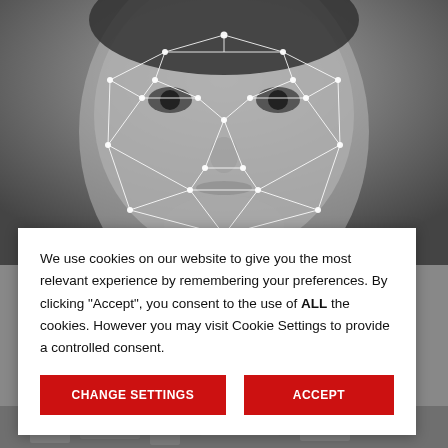[Figure (photo): Black and white photo of a person's face with white geometric facial recognition mesh overlay showing nodes and connecting lines across facial features.]
We use cookies on our website to give you the most relevant experience by remembering your preferences. By clicking “Accept”, you consent to the use of ALL the cookies. However you may visit Cookie Settings to provide a controlled consent.
[Figure (photo): Partial black and white photo at the bottom of the page showing a blurred indoor scene.]